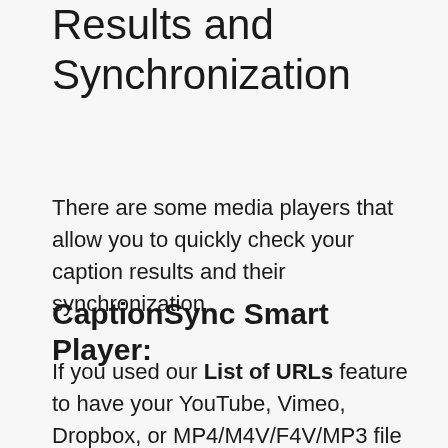Results and Synchronization
There are some media players that allow you to quickly check your caption results and their synchronization.
CaptionSync Smart Player:
If you used our List of URLs feature to have your YouTube, Vimeo, Dropbox, or MP4/M4V/F4V/MP3 file captioned, our Smart Player is a great tool to see the